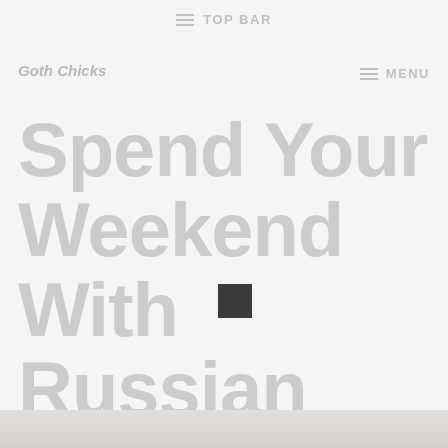TOP BAR
Goth Chicks
MENU
Spend Your Weekend With Russian Escorts
[Figure (photo): A faded/washed-out photograph of a person, partially visible at the bottom of the page.]